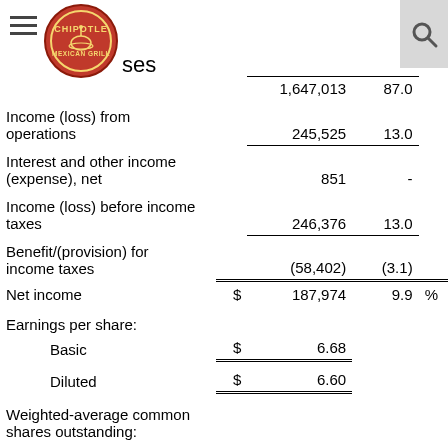Chipotle Mexican Grill – Financial Statement (partial)
|  | $ | Amount | % of Revenue | % |
| --- | --- | --- | --- | --- |
| …ses |  | 1,647,013 | 87.0 |  |
| Income (loss) from operations |  | 245,525 | 13.0 |  |
| Interest and other income (expense), net |  | 851 | - |  |
| Income (loss) before income taxes |  | 246,376 | 13.0 |  |
| Benefit/(provision) for income taxes |  | (58,402) | (3.1) |  |
| Net income | $ | 187,974 | 9.9 | % |
| Earnings per share: |  |  |  |  |
| Basic | $ | 6.68 |  |  |
| Diluted | $ | 6.60 |  |  |
| Weighted-average common shares outstanding: |  |  |  |  |